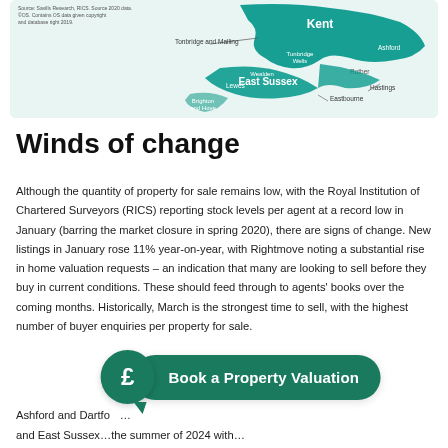[Figure (map): Map of South East England showing Kent and East Sussex regions in teal/green shading, with labeled districts: Tonbridge and Malling, Tunbridge Wells, Ashford, Wealden, Rother, Lewes, Hastings, Eastbourne, Brighton and Hove.]
Winds of change
Although the quantity of property for sale remains low, with the Royal Institution of Chartered Surveyors (RICS) reporting stock levels per agent at a record low in January (barring the market closure in spring 2020), there are signs of change. New listings in January rose 11% year-on-year, with Rightmove noting a substantial rise in home valuation requests – an indication that many are looking to sell before they buy in current conditions. These should feed through to agents' books over the coming months. Historically, March is the strongest time to sell, with the highest number of buyer enquiries per property for sale.
[Figure (infographic): Book a Property Valuation call-to-action button in dark teal/green with a pound sign speech bubble icon on the left.]
Ashford and Dartfo… and East Sussex… 2024 with…